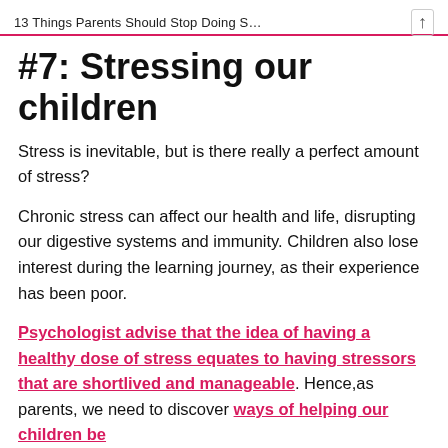13 Things Parents Should Stop Doing S…
#7: Stressing our children
Stress is inevitable, but is there really a perfect amount of stress?
Chronic stress can affect our health and life, disrupting our digestive systems and immunity. Children also lose interest during the learning journey, as their experience has been poor.
Psychologist advise that the idea of having a healthy dose of stress equates to having stressors that are shortlived and manageable. Hence,as parents, we need to discover ways of helping our children be